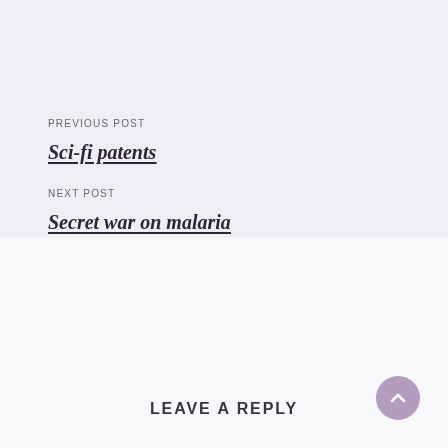PREVIOUS POST
Sci-fi patents
NEXT POST
Secret war on malaria
LEAVE A REPLY